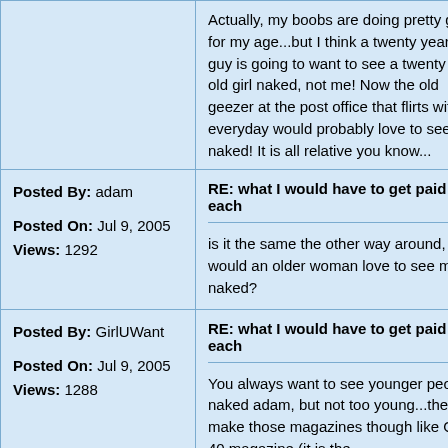| Posted By / Meta | Post Content |
| --- | --- |
|  | Actually, my boobs are doing pretty good for my age...but I think a twenty year-old guy is going to want to see a twenty year-old girl naked, not me! Now the old geezer at the post office that flirts with me everyday would probably love to see me naked! It is all relative you know... |
| Posted By: adam

Posted On: Jul 9, 2005
Views: 1292 | RE: what I would have to get paid for each

is it the same the other way around, or would an older woman love to see me naked? |
| Posted By: GirlUWant

Posted On: Jul 9, 2005
Views: 1288 | RE: what I would have to get paid for each

You always want to see younger people naked adam, but not too young...they do make those magazines though like Over 40 magazine (it is the |